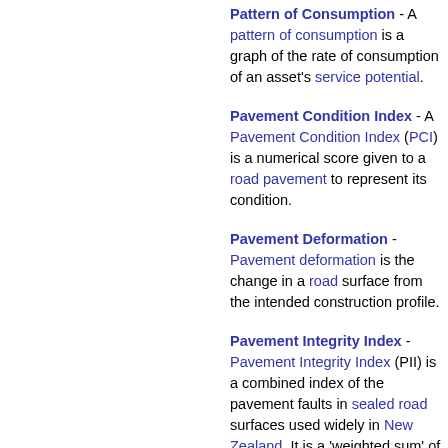Pattern of Consumption - A pattern of consumption is a graph of the rate of consumption of an asset's service potential.
Pavement Condition Index - A Pavement Condition Index (PCI) is a numerical score given to a road pavement to represent its condition.
Pavement Deformation - Pavement deformation is the change in a road surface from the intended construction profile.
Pavement Integrity Index - Pavement Integrity Index (PII) is a combined index of the pavement faults in sealed road surfaces used widely in New Zealand. It is a 'weighted sum' of the pavement defects divided by total lane length. PII combines surface faults (CI) with rutting and